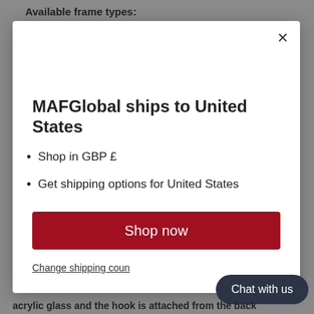Available frame types:
MAFGlobal ships to United States
Shop in GBP £
Get shipping options for United States
Shop now
Change shipping coun...
Chat with us
acrylic glass and the hook is attached from the back